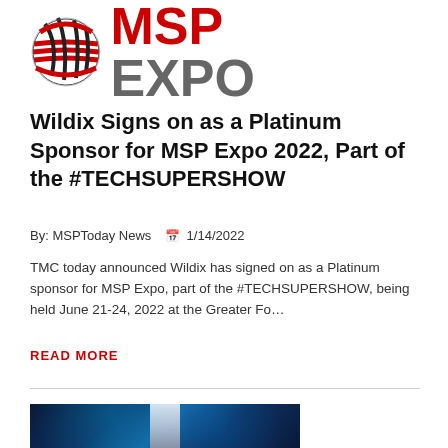[Figure (logo): MSP EXPO logo with globe graphic on the left and MSP in red, EXPO in gray bold text]
Wildix Signs on as a Platinum Sponsor for MSP Expo 2022, Part of the #TECHSUPERSHOW
By: MSPToday News  📅 1/14/2022
TMC today announced Wildix has signed on as a Platinum sponsor for MSP Expo, part of the #TECHSUPERSHOW, being held June 21-24, 2022 at the Greater Fo…
READ MORE
[Figure (photo): Data center or server room with blue digital lighting effects, servers visible in background with glowing blue particles]